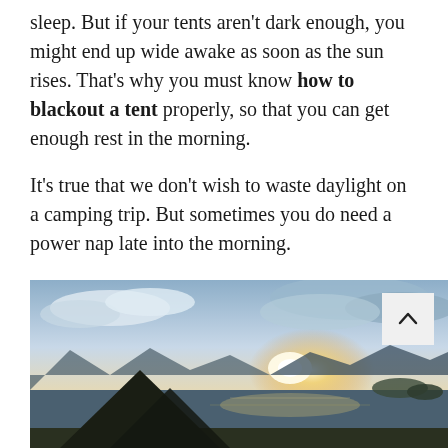sleep. But if your tents aren't dark enough, you might end up wide awake as soon as the sun rises. That's why you must know how to blackout a tent properly, so that you can get enough rest in the morning.

It's true that we don't wish to waste daylight on a camping trip. But sometimes you do need a power nap late into the morning.
[Figure (photo): A scenic landscape photograph showing a tent silhouette in the foreground with a sunrise over a lake or sea, mountains in the background, and dramatic cloudy sky. A scroll-up button (chevron) is overlaid in the bottom-right area.]